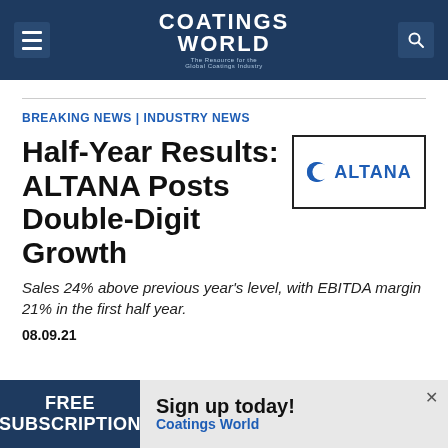Coatings World — The Resource for the Global Coatings Industry
BREAKING NEWS | INDUSTRY NEWS
[Figure (logo): ALTANA company logo inside a bordered rectangle — blue crescent moon icon with bold blue text 'ALTANA']
Half-Year Results: ALTANA Posts Double-Digit Growth
Sales 24% above previous year's level, with EBITDA margin 21% in the first half year.
08.09.21
[Figure (infographic): Advertisement banner: 'FREE SUBSCRIPTION' on dark blue left panel, 'Sign up today! Coatings World' on grey right panel with close button]